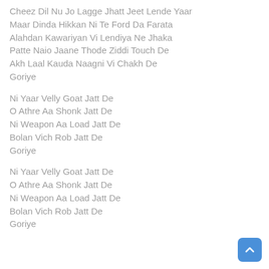Cheez Dil Nu Jo Lagge Jhatt Jeet Lende Yaar
Maar Dinda Hikkan Ni Te Ford Da Farata
Alahdan Kawariyan Vi Lendiya Ne Jhaka
Patte Naio Jaane Thode Ziddi Touch De
Akh Laal Kauda Naagni Vi Chakh De
Goriye
Ni Yaar Velly Goat Jatt De
O Athre Aa Shonk Jatt De
Ni Weapon Aa Load Jatt De
Bolan Vich Rob Jatt De
Goriye
Ni Yaar Velly Goat Jatt De
O Athre Aa Shonk Jatt De
Ni Weapon Aa Load Jatt De
Bolan Vich Rob Jatt De
Goriye